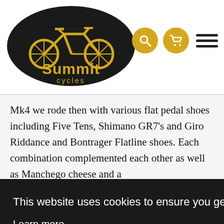[Figure (logo): Summit Cycles logo with bicycle graphic and yellow/black text]
Mk4 we rode then with various flat pedal shoes including Five Tens, Shimano GR7's and Giro Riddance and Bontrager Flatline shoes. Each combination complemented each other as well as Manchego cheese and a
This website uses cookies to ensure you get the best experience on our website.
Learn more
Got it!
and came back asking for more.